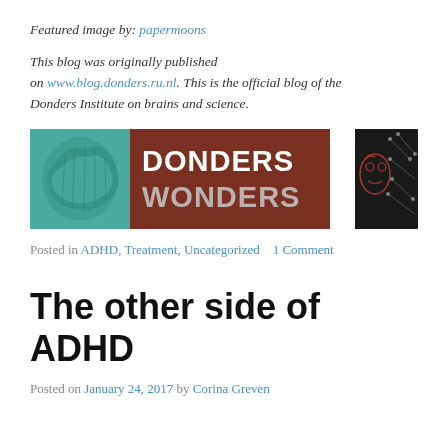Featured image by: papermoons
This blog was originally published on www.blog.donders.ru.nl. This is the official blog of the Donders Institute on brains and science.
[Figure (illustration): Donders Wonders blog banner showing a brain image on a teal background, 'DONDERS WONDERS' text in bold on a dark red/brown background with 'ON BRAINS AND SCIENCE' and 'OVER HERSENEN EN WETENSCHAP' in smaller text, and a stylized face drawing on a dark background with neural network imagery]
Posted in ADHD, Treatment, Uncategorized   1 Comment
The other side of ADHD
Posted on January 24, 2017 by Corina Greven